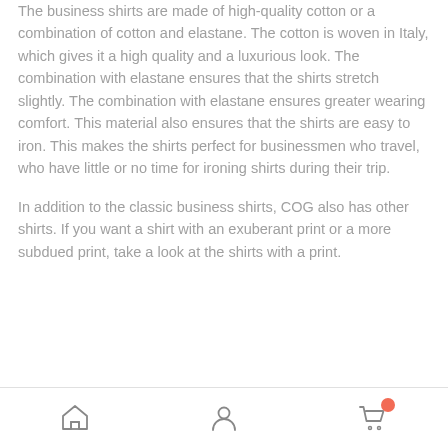The business shirts are made of high-quality cotton or a combination of cotton and elastane. The cotton is woven in Italy, which gives it a high quality and a luxurious look. The combination with elastane ensures that the shirts stretch slightly. The combination with elastane ensures greater wearing comfort. This material also ensures that the shirts are easy to iron. This makes the shirts perfect for businessmen who travel, who have little or no time for ironing shirts during their trip.
In addition to the classic business shirts, COG also has other shirts. If you want a shirt with an exuberant print or a more subdued print, take a look at the shirts with a print.
Navigation bar with home, user, and cart icons